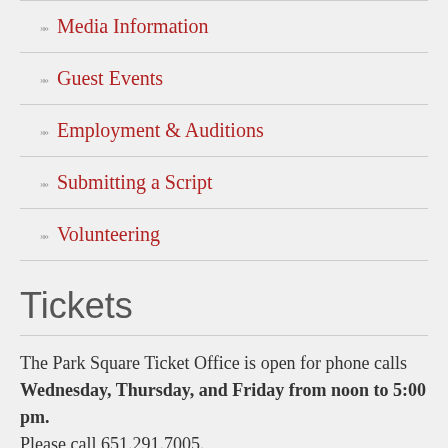Media Information
Guest Events
Employment & Auditions
Submitting a Script
Volunteering
Tickets
The Park Square Ticket Office is open for phone calls Wednesday, Thursday, and Friday from noon to 5:00 pm. Please call 651.291.7005.
For service other days of the week, please